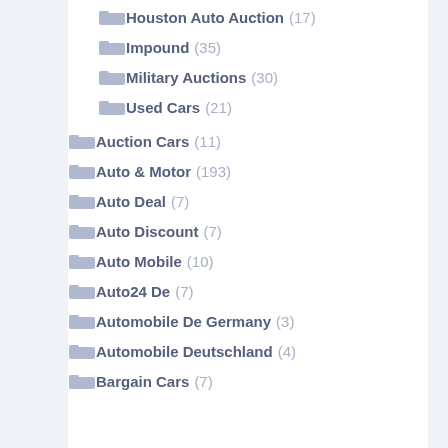Houston Auto Auction (17)
Impound (35)
Military Auctions (30)
Used Cars (21)
Auction Cars (11)
Auto & Motor (193)
Auto Deal (7)
Auto Discount (7)
Auto Mobile (10)
Auto24 De (7)
Automobile De Germany (3)
Automobile Deutschland (4)
Bargain Cars (7)